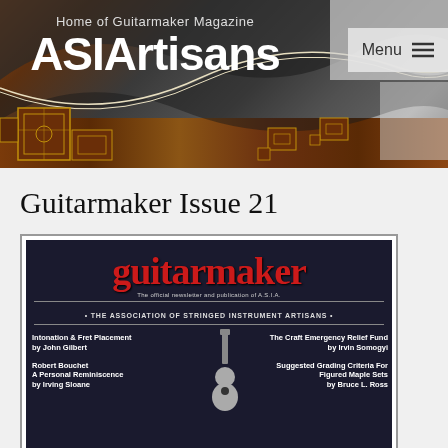[Figure (screenshot): ASIArtisans website header banner with wood grain guitar imagery, wave design, site title 'ASIArtisans', subtitle 'Home of Guitarmaker Magazine', and Menu button]
Guitarmaker Issue 21
[Figure (photo): Cover of Guitarmaker magazine Issue 21, showing the title 'guitarmaker' in red on dark background, subtitle 'The official newsletter and publication of A.S.I.A.', 'THE ASSOCIATION OF STRINGED INSTRUMENT ARTISANS', with article listings: 'Intonation & Fret Placement by John Gilbert', 'Robert Bouchet A Personal Reminiscence by Irving Sloane', 'The Craft Emergency Relief Fund by Irvin Somogyi', 'Suggested Grading Criteria For Figured Maple Sets by Bruce L. Ross']